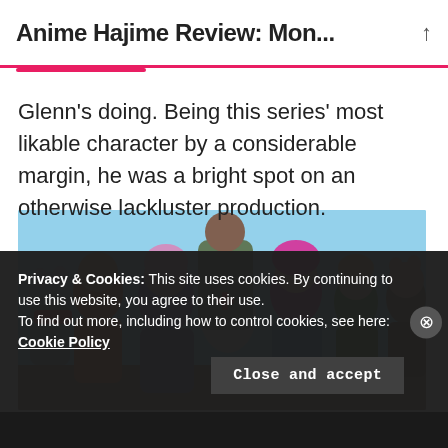Anime Hajime Review: Mon...
Glenn's doing. Being this series' most likable character by a considerable margin, he was a bright spot on an otherwise lackluster production.
[Figure (photo): Group of anime characters from the Monster Musume series, including characters with animal ears and colorful hair, posed together in front of a sky background.]
Privacy & Cookies: This site uses cookies. By continuing to use this website, you agree to their use.
To find out more, including how to control cookies, see here: Cookie Policy
Close and accept